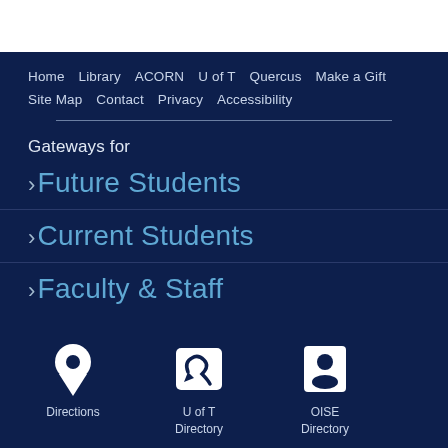Home  Library  ACORN  U of T  Quercus  Make a Gift  Site Map  Contact  Privacy  Accessibility
Gateways for
› Future Students
› Current Students
› Faculty & Staff
[Figure (infographic): Three icon buttons at the bottom: a location pin icon labeled 'Directions', a phone/speech bubble icon labeled 'U of T Directory', and a contact card icon labeled 'OISE Directory']